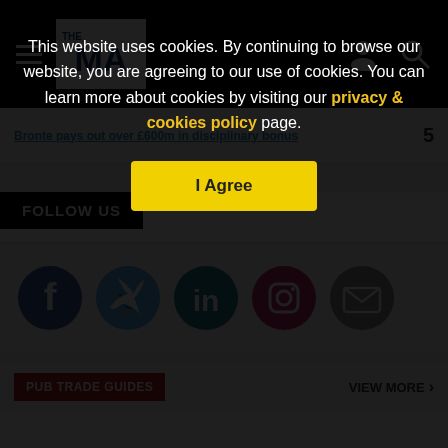THE MA - navigation bar with hamburger menu, logo, person icon, search icon
Bronte pays out over £600m in disciplinary bonus 5
FOLLOW US
[Figure (infographic): Social media icons: Facebook (blue circle), Twitter (light blue circle), LinkedIn (teal circle), Instagram (pink circle), Email (gray circle)]
PUB TRADE GUIDES   VIEW MORE >
This website uses cookies. By continuing to browse our website, you are agreeing to our use of cookies. You can learn more about cookies by visiting our privacy & cookies policy page.
I Agree